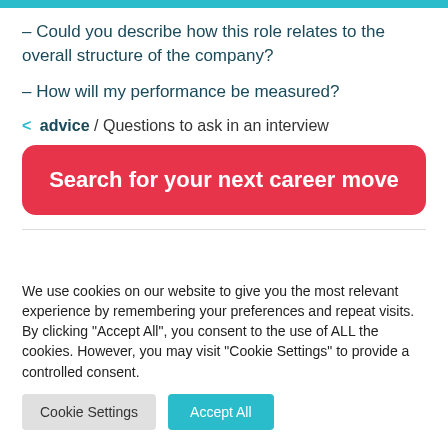– Could you describe how this role relates to the overall structure of the company?
– How will my performance be measured?
< advice / Questions to ask in an interview
Search for your next career move
We use cookies on our website to give you the most relevant experience by remembering your preferences and repeat visits. By clicking "Accept All", you consent to the use of ALL the cookies. However, you may visit "Cookie Settings" to provide a controlled consent.
Cookie Settings | Accept All